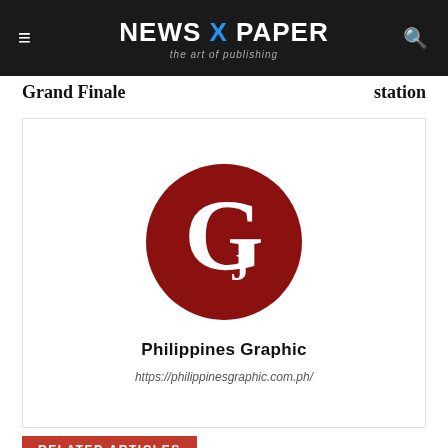NEWS X PAPER — the art of publishing
Grand Finale    station
[Figure (logo): Philippines Graphic logo: dark red circle with white 'G' serif letter; below it bold text 'Philippines Graphic' and italic URL 'https://philippinesgraphic.com.ph/']
RELATED ARTICLES